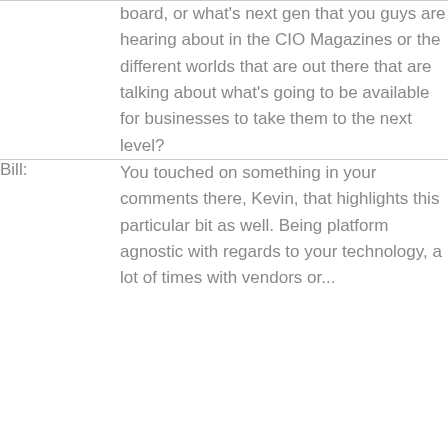| Speaker | Speech |
| --- | --- |
|  | board, or what's next gen that you guys are hearing about in the CIO Magazines or the different worlds that are out there that are talking about what's going to be available for businesses to take them to the next level? |
| Bill: | You touched on something in your comments there, Kevin, that highlights this particular bit as well. Being platform agnostic with regards to your technology, a lot of times with vendors or... |